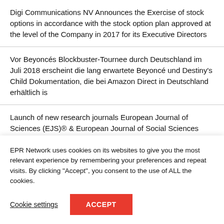Digi Communications NV Announces the Exercise of stock options in accordance with the stock option plan approved at the level of the Company in 2017 for its Executive Directors
Vor Beyoncés Blockbuster-Tournee durch Deutschland im Juli 2018 erscheint die lang erwartete Beyoncé und Destiny's Child Dokumentation, die bei Amazon Direct in Deutschland erhältlich is
Launch of new research journals European Journal of Sciences (EJS)® & European Journal of Social Sciences (EJSS)®
EPR Network uses cookies on its websites to give you the most relevant experience by remembering your preferences and repeat visits. By clicking "Accept", you consent to the use of ALL the cookies.